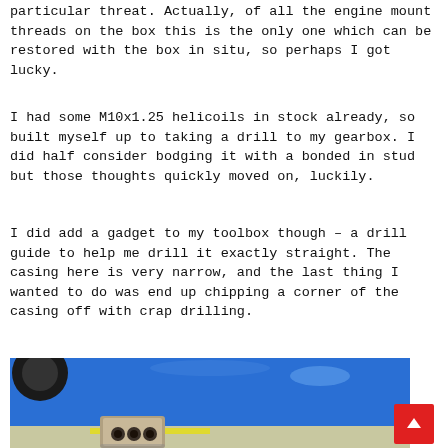particular threat. Actually, of all the engine mount threads on the box this is the only one which can be restored with the box in situ, so perhaps I got lucky.
I had some M10x1.25 helicoils in stock already, so built myself up to taking a drill to my gearbox. I did half consider bodging it with a bonded in stud but those thoughts quickly moved on, luckily.
I did add a gadget to my toolbox though – a drill guide to help me drill it exactly straight. The casing here is very narrow, and the last thing I wanted to do was end up chipping a corner of the casing off with crap drilling.
[Figure (photo): Close-up photo of a blue car body panel with a metallic drill guide tool with multiple holes visible in the foreground, taken in a garage setting.]